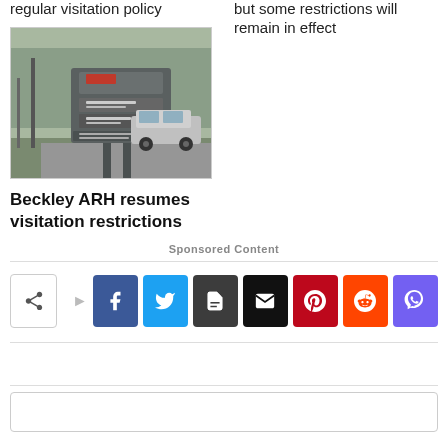regular visitation policy
but some restrictions will remain in effect
[Figure (photo): Hospital sign for Beckley ARH Hospital with a car in the background, trees visible]
Beckley ARH resumes visitation restrictions
Sponsored Content
[Figure (infographic): Social media share bar with icons: share, facebook, twitter, print, email, pinterest, reddit, viber]